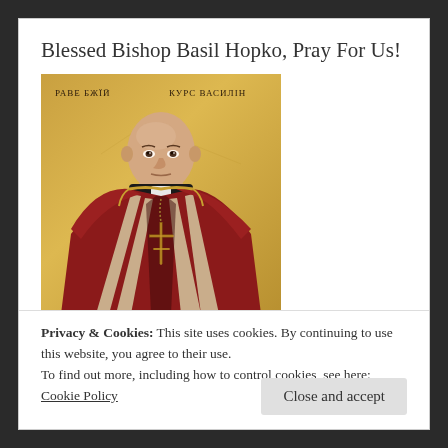Blessed Bishop Basil Hopko, Pray For Us!
[Figure (illustration): Byzantine-style icon painting of Bishop Basil Hopko wearing red episcopal vestments with a black clerical collar and a cross pendant. Cyrillic text appears in the upper corners reading 'РАВЕ БЖЇЙ' on the left and 'КУРС ВАСИЛІН' on the right. The background is gold-toned.]
Privacy & Cookies: This site uses cookies. By continuing to use this website, you agree to their use.
To find out more, including how to control cookies, see here: Cookie Policy
Close and accept